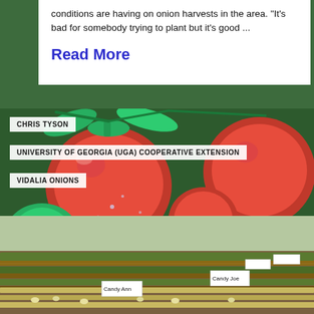conditions are having on onion harvests in the area. “It’s bad for somebody trying to plant but it’s good …
Read More
[Figure (photo): Close-up photo of red ripe tomatoes on the vine with green leaves and water droplets]
CHRIS TYSON
UNIVERSITY OF GEORGIA (UGA) COOPERATIVE EXTENSION
VIDALIA ONIONS
[Figure (photo): Photo of onion field rows with harvested onions lying on the ground; small labeled signs visible in rows including 'Candy Ann' and 'Candy Joe']